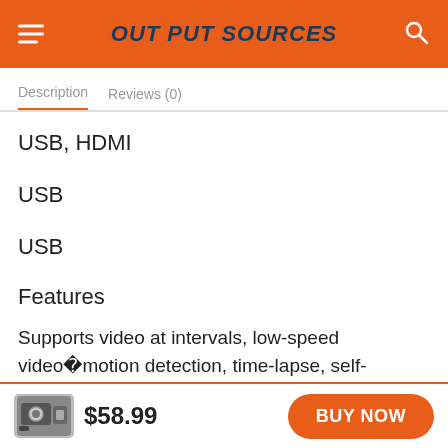OUT PUT SOURCES
Description   Reviews (0)
USB, HDMI
USB
USB
Features
Supports video at intervals, low-speed videoïmotion detection, time-lapse, self-shooting and continuous
$58.99   BUY NOW